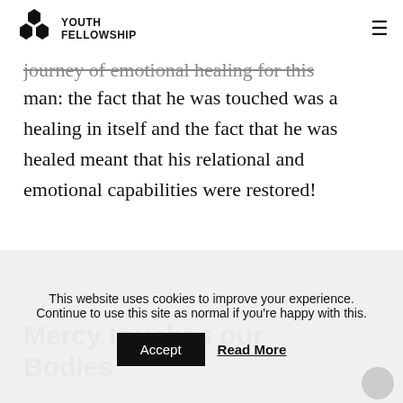YOUTH FELLOWSHIP
journey of emotional healing for this man: the fact that he was touched was a healing in itself and the fact that he was healed meant that his relational and emotional capabilities were restored!
Mercy touches our Bodies
This website uses cookies to improve your experience. Continue to use this site as normal if you're happy with this.
Accept  Read More